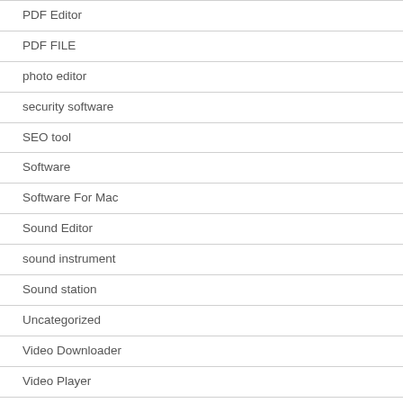PDF Editor
PDF FILE
photo editor
security software
SEO tool
Software
Software For Mac
Sound Editor
sound instrument
Sound station
Uncategorized
Video Downloader
Video Player
Video Recorder